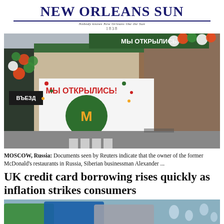NEW ORLEANS SUN
Nobody knows New Orleans like the Sun
1838
[Figure (photo): Exterior of a newly reopened former McDonald's restaurant in Russia, with a large white banner reading 'МЫ ОТКРЫЛИСЬ!' (We are open!) featuring the new logo, decorated with orange and green balloons. A sign 'ВЪЕЗД' (entrance) is visible on the left.]
MOSCOW, Russia: Documents seen by Reuters indicate that the owner of the former McDonald's restaurants in Russia, Siberian businessman Alexander ...
UK credit card borrowing rises quickly as inflation strikes consumers
[Figure (photo): Close-up photo of credit cards, partially visible, with blurred background.]